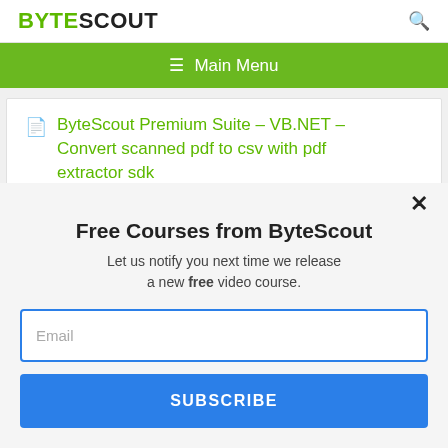BYTESCOUT
≡  Main Menu
ByteScout Premium Suite – VB.NET – Convert scanned pdf to csv with pdf extractor sdk
This website uses cookies. Cookies are used to personalize content, analyze traffic, provide social media features, display ads. We also share
Free Courses from ByteScout
Let us notify you next time we release a new free video course.
Email
SUBSCRIBE